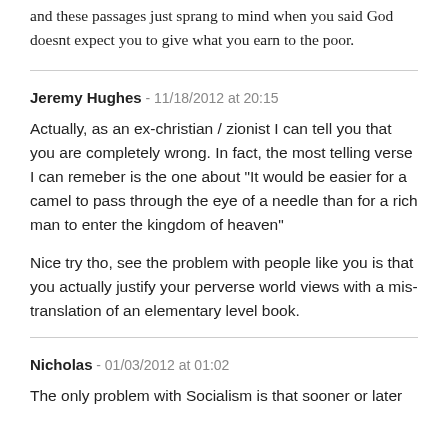and these passages just sprang to mind when you said God doesnt expect you to give what you earn to the poor.
Jeremy Hughes - 11/18/2012 at 20:15
Actually, as an ex-christian / zionist I can tell you that you are completely wrong. In fact, the most telling verse I can remeber is the one about "It would be easier for a camel to pass through the eye of a needle than for a rich man to enter the kingdom of heaven"
Nice try tho, see the problem with people like you is that you actually justify your perverse world views with a mis-translation of an elementary level book.
Nicholas - 01/03/2012 at 01:02
The only problem with Socialism is that sooner or later